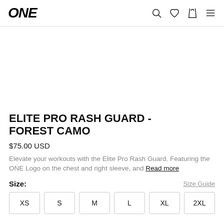ONE
ELITE PRO RASH GUARD - FOREST CAMO
$75.00 USD
Elevate your workouts with the Elite Pro Rash Guard. Featuring the ONE Logo on the chest and right sleeve, and Read more
Size:
Size Guide
XS S M L XL 2XL